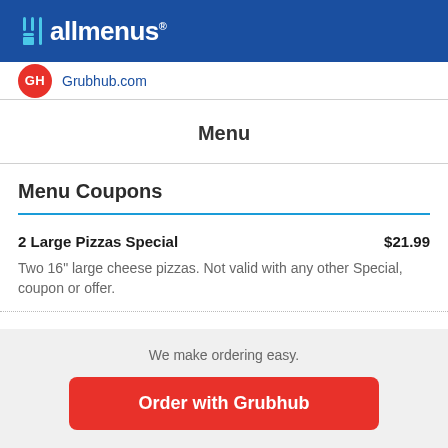allmenus®
Grubhub.com
Menu
Menu Coupons
2 Large Pizzas Special    $21.99
Two 16" large cheese pizzas. Not valid with any other Special, coupon or offer.
We make ordering easy.
Order with Grubhub